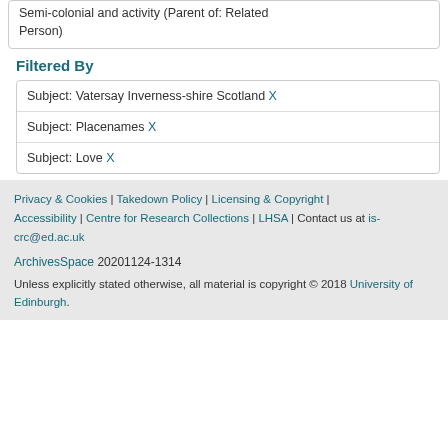Semi-colonial and activity (Parent of: Related Person)
Filtered By
Subject: Vatersay Inverness-shire Scotland X
Subject: Placenames X
Subject: Love X
Privacy & Cookies | Takedown Policy | Licensing & Copyright | Accessibility | Centre for Research Collections | LHSA | Contact us at is-crc@ed.ac.uk
ArchivesSpace 20201124-1314
Unless explicitly stated otherwise, all material is copyright © 2018 University of Edinburgh.